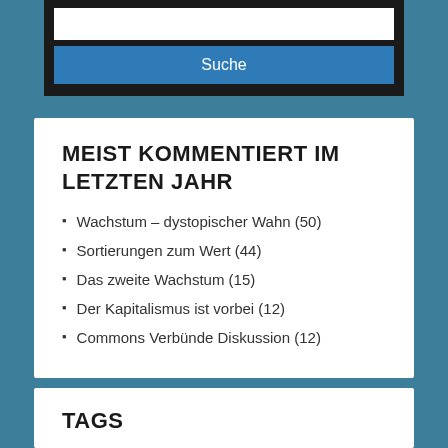[Figure (screenshot): Search box with white input field and blue 'Suche' button on dark background]
MEIST KOMMENTIERT IM LETZTEN JAHR
Wachstum – dystopischer Wahn (50)
Sortierungen zum Wert (44)
Das zweite Wachstum (15)
Der Kapitalismus ist vorbei (12)
Commons Verbünde Diskussion (12)
TAGS